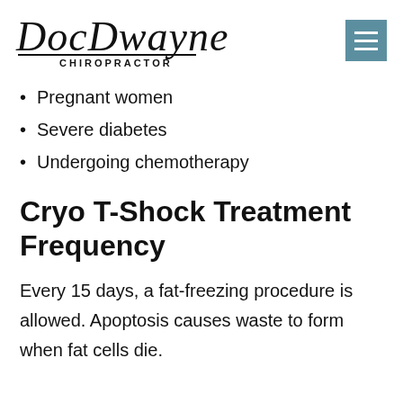DocDwayne Chiropractor
Pregnant women
Severe diabetes
Undergoing chemotherapy
Cryo T-Shock Treatment Frequency
Every 15 days, a fat-freezing procedure is allowed. Apoptosis causes waste to form when fat cells die.